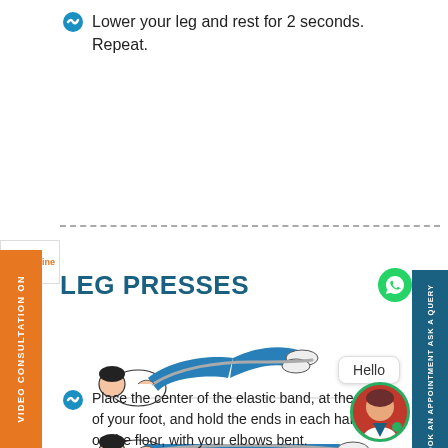Lower your leg and rest for 2 seconds. Repeat.
LEG PRESSES
[Figure (illustration): Two illustrations of a person lying on the floor performing leg presses with an elastic resistance band. Top image shows knees bent with legs raised; bottom image shows legs extended with band stretched.]
Place the center of the elastic band, at the arch of your foot, and hold the ends in each hand. Lie on the floor, with your elbows bent.